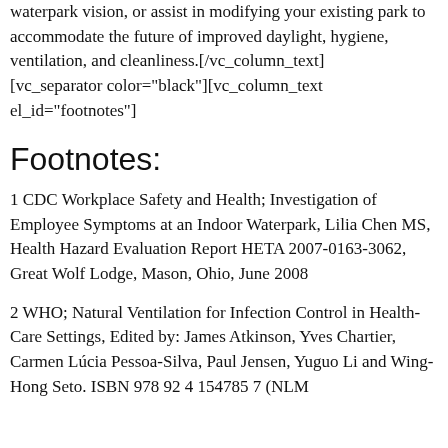waterpark vision, or assist in modifying your existing park to accommodate the future of improved daylight, hygiene, ventilation, and cleanliness.[/vc_column_text][vc_separator color="black"][vc_column_text el_id="footnotes"]
Footnotes:
1 CDC Workplace Safety and Health; Investigation of Employee Symptoms at an Indoor Waterpark, Lilia Chen MS, Health Hazard Evaluation Report HETA 2007-0163-3062, Great Wolf Lodge, Mason, Ohio, June 2008
2 WHO; Natural Ventilation for Infection Control in Health-Care Settings, Edited by: James Atkinson, Yves Chartier, Carmen Lúcia Pessoa-Silva, Paul Jensen, Yuguo Li and Wing-Hong Seto. ISBN 978 92 4 154785 7 (NLM